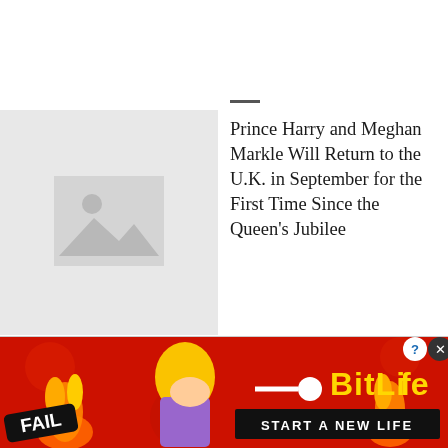[Figure (photo): Placeholder image thumbnail with grey background and image icon]
Prince Harry and Meghan Markle Will Return to the U.K. in September for the First Time Since the Queen's Jubilee
[Figure (illustration): BitLife advertisement banner with FAIL badge, animated character, fire graphics, BitLife logo, and START A NEW LIFE text]